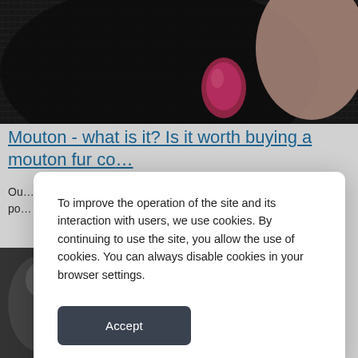[Figure (photo): Close-up photo of dark fur coat being touched by a hand with red nail polish]
Mouton - what is it? Is it worth buying a mouton fur co…
Ou… po…
[Figure (photo): Partial photo at bottom left, obscured by modal]
To improve the operation of the site and its interaction with users, we use cookies. By continuing to use the site, you allow the use of cookies. You can always disable cookies in your browser settings.
Accept